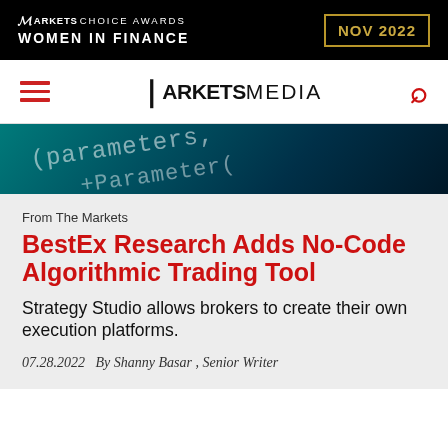[Figure (other): Markets Choice Awards Women in Finance NOV 2022 advertisement banner on black background with gold border around date]
MARKETS MEDIA
[Figure (photo): Dark teal/blue background with code text showing '(parameters' and '+Parameter(' in monospace font]
From The Markets
BestEx Research Adds No-Code Algorithmic Trading Tool
Strategy Studio allows brokers to create their own execution platforms.
07.28.2022  By Shanny Basar , Senior Writer